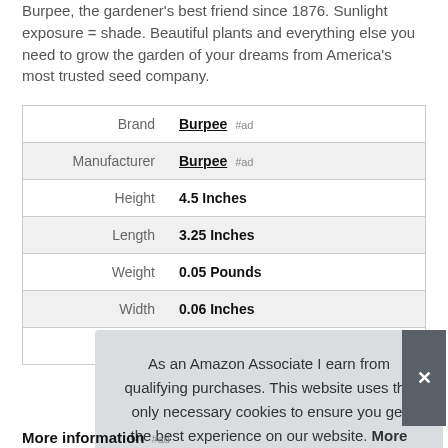Burpee, the gardener's best friend since 1876. Sunlight exposure = shade. Beautiful plants and everything else you need to grow the garden of your dreams from America's most trusted seed company.
|  |  |
| --- | --- |
| Brand | Burpee #ad |
| Manufacturer | Burpee #ad |
| Height | 4.5 Inches |
| Length | 3.25 Inches |
| Weight | 0.05 Pounds |
| Width | 0.06 Inches |
| P |  |
As an Amazon Associate I earn from qualifying purchases. This website uses the only necessary cookies to ensure you get the best experience on our website. More information
More information